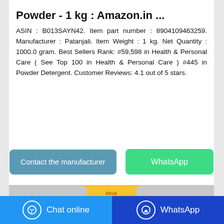Powder - 1 kg : Amazon.in ...
ASIN : B013SAYN42. Item part number : 8904109463259. Manufacturer : Patanjali. Item Weight : 1 kg. Net Quantity : 1000.0 gram. Best Sellers Rank: #59,598 in Health & Personal Care ( See Top 100 in Health & Personal Care ) #445 in Powder Detergent. Customer Reviews: 4.1 out of 5 stars.
[Figure (screenshot): Two buttons: 'Contact the manufacturer' (blue-grey) and 'WhatsApp' (green)]
[Figure (photo): Product image of a yellow Patanjali washing powder bag (1 kg) on a grey background]
Chat online   WhatsApp